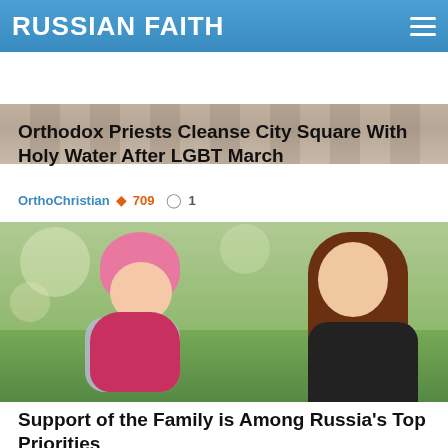RUSSIAN FAITH
[Figure (photo): Partial top image showing stone/ground texture]
Orthodox Priests Cleanse City Square With Holy Water After LGBT March
OrthoChristian 🔥 709 💬 1
[Figure (photo): A woman with long brown hair kissing a baby in a pink hat and polka-dot outfit, outdoors with bokeh background]
Support of the Family is Among Russia's Top Priorities